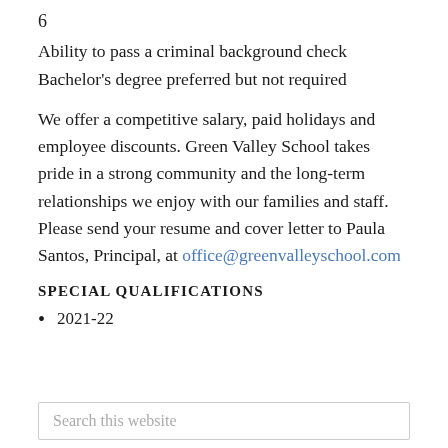6
Ability to pass a criminal background check
Bachelor's degree preferred but not required
We offer a competitive salary, paid holidays and employee discounts. Green Valley School takes pride in a strong community and the long-term relationships we enjoy with our families and staff. Please send your resume and cover letter to Paula Santos, Principal, at office@greenvalleyschool.com
SPECIAL QUALIFICATIONS
2021-22
Search this website